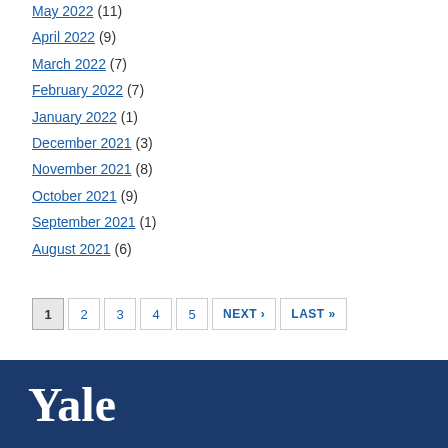May 2022 (11)
April 2022 (9)
March 2022 (7)
February 2022 (7)
January 2022 (1)
December 2021 (3)
November 2021 (8)
October 2021 (9)
September 2021 (1)
August 2021 (6)
Yale